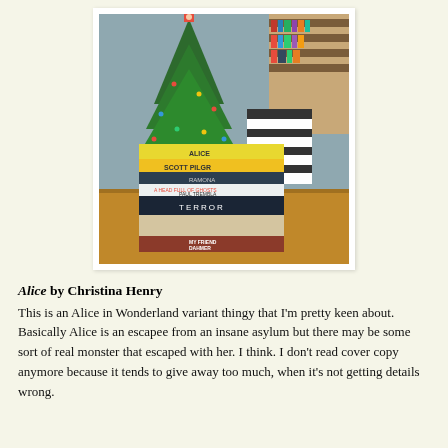[Figure (photo): A stack of books on a wooden table in front of a decorated Christmas tree, with a zebra-striped chair and bookshelf visible in the background. Visible book titles include Alice, Scott Pilgrim, Ramona, A Head Full of Ghosts by Paul Tremblay, Terror, and My Friend Dahmer.]
Alice by Christina Henry
This is an Alice in Wonderland variant thingy that I'm pretty keen about. Basically Alice is an escapee from an insane asylum but there may be some sort of real monster that escaped with her. I think. I don't read cover copy anymore because it tends to give away too much, when it's not getting details wrong.